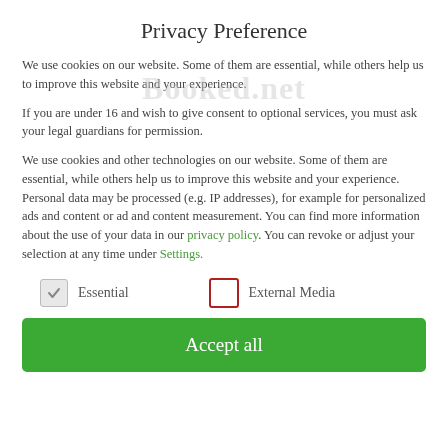Privacy Preference
We use cookies on our website. Some of them are essential, while others help us to improve this website and your experience.
If you are under 16 and wish to give consent to optional services, you must ask your legal guardians for permission.
We use cookies and other technologies on our website. Some of them are essential, while others help us to improve this website and your experience. Personal data may be processed (e.g. IP addresses), for example for personalized ads and content or ad and content measurement. You can find more information about the use of your data in our privacy policy. You can revoke or adjust your selection at any time under Settings.
Essential (checked)
External Media (unchecked)
Accept all
covering 2000 destinations.
As a response to greenwashing in the emerging